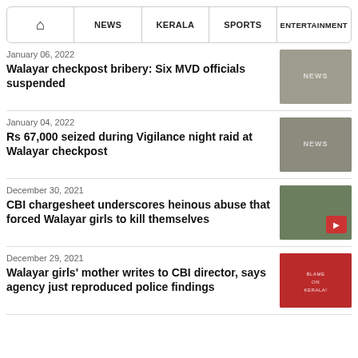HOME | NEWS | KERALA | SPORTS | ENTERTAINMENT
January 06, 2022
Walayar checkpost bribery: Six MVD officials suspended
January 04, 2022
Rs 67,000 seized during Vigilance night raid at Walayar checkpost
December 30, 2021
CBI chargesheet underscores heinous abuse that forced Walayar girls to kill themselves
December 29, 2021
Walayar girls' mother writes to CBI director, says agency just reproduced police findings